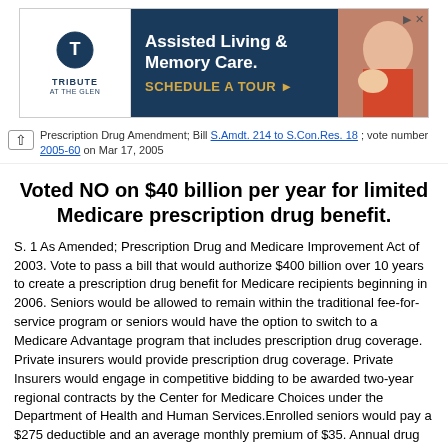[Figure (other): Advertisement banner for Tribute at the Glen - Assisted Living & Memory Care with 'Schedule a Tour' call to action, showing logo on left, dark blue text panel in center, and photo of elderly person with pet on right]
Prescription Drug Amendment; Bill S.Amdt. 214 to S.Con.Res. 18 ; vote number 2005-60 on Mar 17, 2005
Voted NO on $40 billion per year for limited Medicare prescription drug benefit.
S. 1 As Amended; Prescription Drug and Medicare Improvement Act of 2003. Vote to pass a bill that would authorize $400 billion over 10 years to create a prescription drug benefit for Medicare recipients beginning in 2006. Seniors would be allowed to remain within the traditional fee-for-service program or seniors would have the option to switch to a Medicare Advantage program that includes prescription drug coverage. Private insurers would provide prescription drug coverage. Private Insurers would engage in competitive bidding to be awarded two-year regional contracts by the Center for Medicare Choices under the Department of Health and Human Services.Enrolled seniors would pay a $275 deductible and an average monthly premium of $35. Annual drug costs beyond the deductible and up to $4,500 would be divided equally between the beneficiary and the insurer. Beneficiaries with incomes below 160 percent of the poverty level would be eligible for added